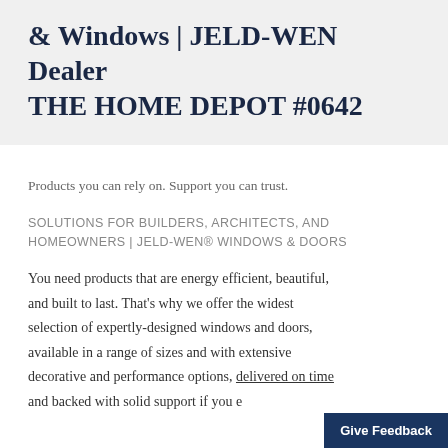& Windows | JELD-WEN Dealer THE HOME DEPOT #0642
Products you can rely on. Support you can trust.
SOLUTIONS FOR BUILDERS, ARCHITECTS, AND HOMEOWNERS | JELD-WEN® WINDOWS & DOORS
You need products that are energy efficient, beautiful, and built to last. That's why we offer the widest selection of expertly-designed windows and doors, available in a range of sizes and with extensive decorative and performance options, delivered on time and backed with solid support if you e…